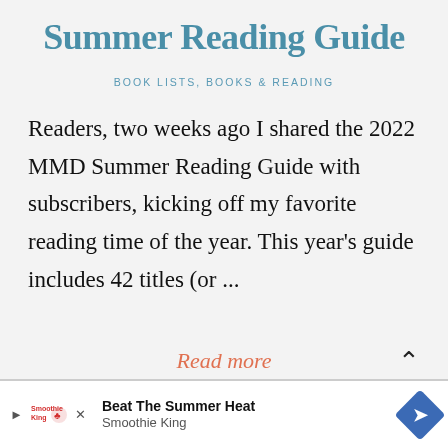Summer Reading Guide
BOOK LISTS, BOOKS & READING
Readers, two weeks ago I shared the 2022 MMD Summer Reading Guide with subscribers, kicking off my favorite reading time of the year. This year's guide includes 42 titles (or ...
Read more
[Figure (other): Advertisement banner: Beat The Summer Heat - Smoothie King, with play button, Smoothie King logo, close button, and a blue diamond navigation arrow icon]